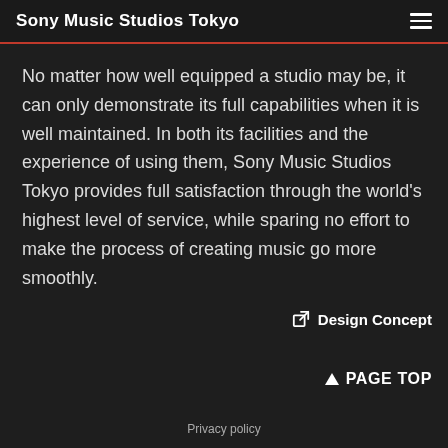Sony Music Studios Tokyo
No matter how well equipped a studio may be, it can only demonstrate its full capabilities when it is well maintained. In both its facilities and the experience of using them, Sony Music Studios Tokyo provides full satisfaction through the world's highest level of service, while sparing no effort to make the process of creating music go more smoothly.
Design Concept
PAGE TOP
Privacy policy